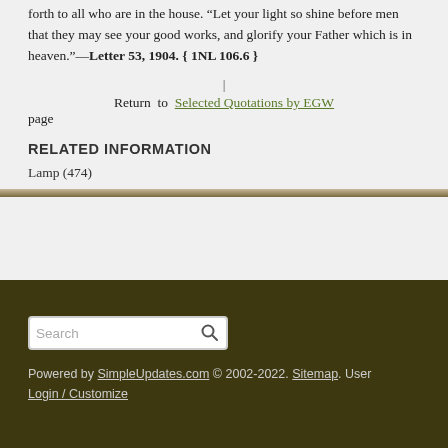forth to all who are in the house. “Let your light so shine before men that they may see your good works, and glorify your Father which is in heaven.”—Letter 53, 1904. { 1NL 106.6 }
| Return to Selected Quotations by EGW page
RELATED INFORMATION
Lamp (474)
Powered by SimpleUpdates.com © 2002-2022. Sitemap. User Login / Customize